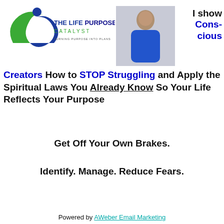[Figure (logo): The Life Purpose Catalyst logo — blue and green swoosh figure with text 'THE LIFE PURPOSE CATALYST — TURNING PURPOSE INTO PLANS']
[Figure (photo): Photo of a woman in a blue dress smiling, on a light gray background]
I show Conscious Creators How to STOP Struggling and Apply the Spiritual Laws You Already Know So Your Life Reflects Your Purpose
Get Off Your Own Brakes.
Identify. Manage. Reduce Fears.
Powered by AWeber Email Marketing